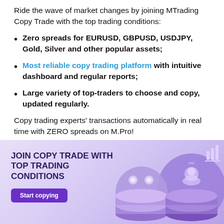Ride the wave of market changes by joining MTrading Copy Trade with the top trading conditions:
Zero spreads for EURUSD, GBPUSD, USDJPY, Gold, Silver and other popular assets;
Most reliable copy trading platform with intuitive dashboard and regular reports;
Large variety of top-traders to choose and copy, updated regularly.
Copy trading experts' transactions automatically in real time with ZERO spreads on M.Pro!
[Figure (infographic): Purple gradient banner with text 'JOIN COPY TRADE WITH TOP TRADING CONDITIONS', a 'Start copying' button, and illustrated 3D purple coin stacks with icons (person, bar chart, dots).]